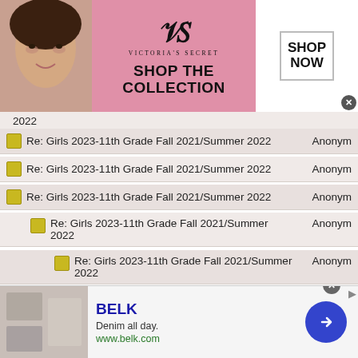[Figure (screenshot): Victoria's Secret advertisement banner with pink background, model photo, VS logo, 'SHOP THE COLLECTION' text, and 'SHOP NOW' button]
2022
Re: Girls 2023-11th Grade Fall 2021/Summer 2022  Anonym
Re: Girls 2023-11th Grade Fall 2021/Summer 2022  Anonym
Re: Girls 2023-11th Grade Fall 2021/Summer 2022  Anonym
Re: Girls 2023-11th Grade Fall 2021/Summer 2022  Anonym
Re: Girls 2023-11th Grade Fall 2021/Summer 2022  Anonym
Re: Girls 2023-11th Grade Fall 2021/Summer 2022  Anonym
Re: Girls 2023-11th Grade Fall 2021/Summer 2022  Anonym
[Figure (screenshot): Belk advertisement with denim theme, 'Denim all day.' tagline, www.belk.com URL, and blue circular arrow button]